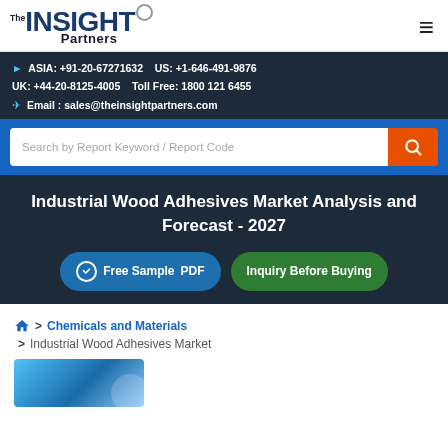The Insight Partners | ASIA: +91-20-67271632  US: +1-646-491-9876  UK: +44-20-8125-4005  Toll Free: 1800 121 6455  Email: sales@theinsightpartners.com
Search by Report Keyword / Report Code
Industrial Wood Adhesives Market Analysis and Forecast - 2027
Free Sample PDF  |  Inquiry Before Buying
Home > Chemicals and Materials > Industrial Wood Adhesives Market